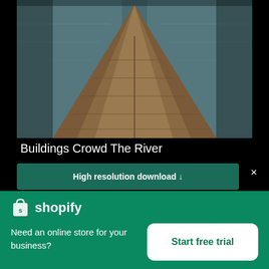[Figure (photo): Aerial view of a stone or brick pier/levee forming a triangular point extending into a calm river or lake, seen from above. Water is grey-blue on both sides; structure is dark brown stone.]
Buildings Crowd The River
High resolution download ↓
[Figure (logo): Shopify logo: white shopping bag icon with 'S' followed by 'shopify' text in white]
Need an online store for your business?
Start free trial